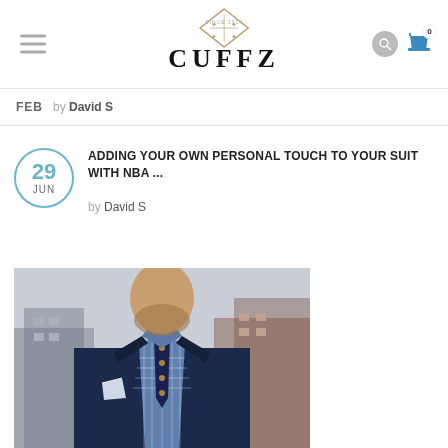CUFFZ (logo, since 2014)
FEB  by David S
ADDING YOUR OWN PERSONAL TOUCH TO YOUR SUIT WITH NBA ...
by David S
[Figure (photo): Man in navy suit with blue gingham shirt and navy tie with gold pattern, pocket square visible, outdoors with brick buildings in background]